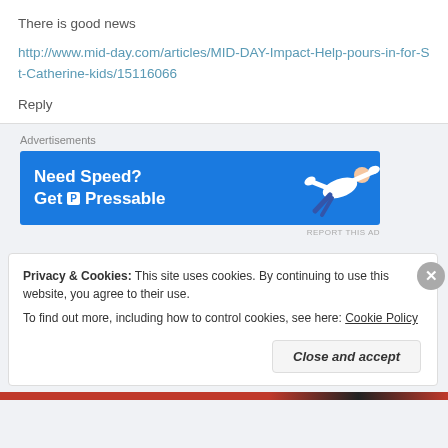There is good news
http://www.mid-day.com/articles/MID-DAY-Impact-Help-pours-in-for-St-Catherine-kids/15116066
Reply
Advertisements
[Figure (infographic): Advertisement banner for Pressable hosting: blue background with 'Need Speed? Get P Pressable' text and a flying person graphic.]
REPORT THIS AD
Privacy & Cookies: This site uses cookies. By continuing to use this website, you agree to their use.
To find out more, including how to control cookies, see here: Cookie Policy
Close and accept